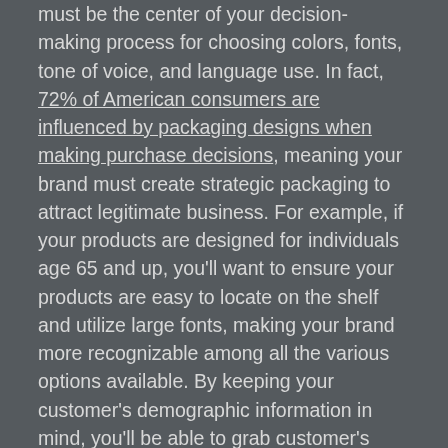must be the center of your decision-making process for choosing colors, fonts, tone of voice, and language use. In fact, 72% of American consumers are influenced by packaging designs when making purchase decisions, meaning your brand must create strategic packaging to attract legitimate business. For example, if your products are designed for individuals age 65 and up, you'll want to ensure your products are easy to locate on the shelf and utilize large fonts, making your brand more recognizable among all the various options available. By keeping your customer's demographic information in mind, you'll be able to grab customer's attention better and increase the probability of consumer purchases.
Be Consistently Trendy
Industry trends are constantly evolving, which